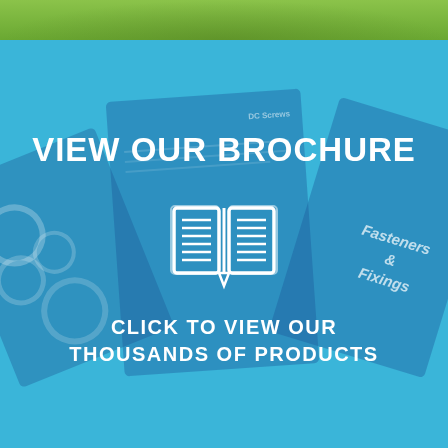[Figure (illustration): Green banner at top of page, partially visible outdoor scene]
[Figure (infographic): Blue promotional banner showing 'VIEW OUR BROCHURE' with an open book icon and decorative brochure panels in the background. Text reads: CLICK TO VIEW OUR THOUSANDS OF PRODUCTS. Background shows three overlapping brochure mockups with 'Fasteners & Fixings' visible on right panel.]